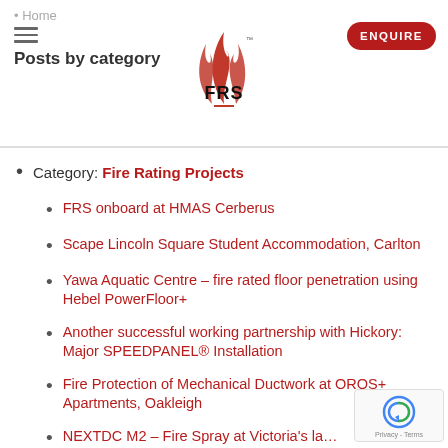Home | Posts by category | FRS logo | ENQUIRE
Category: Fire Rating Projects
FRS onboard at HMAS Cerberus
Scape Lincoln Square Student Accommodation, Carlton
Yawa Aquatic Centre – fire rated floor penetration using Hebel PowerFloor+
Another successful working partnership with Hickory: Major SPEEDPANEL® Installation
Fire Protection of Mechanical Ductwork at OROS+ Apartments, Oakleigh
NEXTDC M2 – Fire Spray at Victoria's la... state-of-the-art data centre